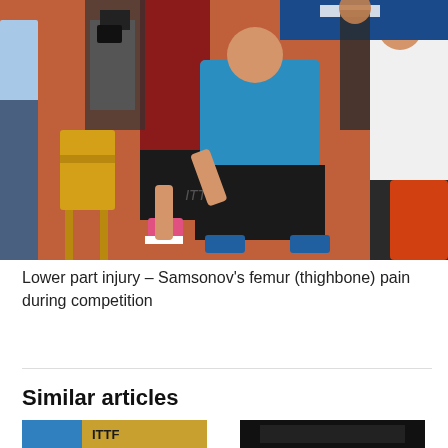[Figure (photo): A table tennis competition scene showing a player in a blue shirt bent over in pain, being attended to by others including a person in a white medical coat. Orange floor, tournament setting.]
Lower part injury – Samsonov's femur (thighbone) pain during competition
Similar articles
[Figure (photo): Thumbnail image - partial view, colorful sports related image]
[Figure (photo): Thumbnail image - dark background, sports related]